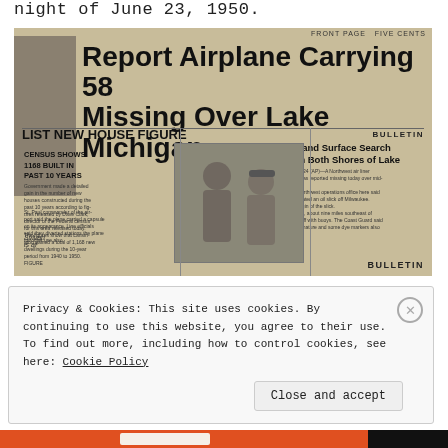night of June 23, 1950.
[Figure (photo): Scanned newspaper front page with headline: 'Report Airplane Carrying 58 Missing Over Lake Michigan', subheadlines 'LIST NEW HOUSE FIGURE', 'CENSUS SHOWS 1168 BUILT IN PAST 10 YEARS', 'BULLETIN: Gigantic Air and Surface Search Started From Both Shores of Lake'. A photo of two men appears in center. Caption reads 'Sylvan' and 'is af'. BULLETIN appears at bottom right.]
Privacy & Cookies: This site uses cookies. By continuing to use this website, you agree to their use. To find out more, including how to control cookies, see here: Cookie Policy
Close and accept